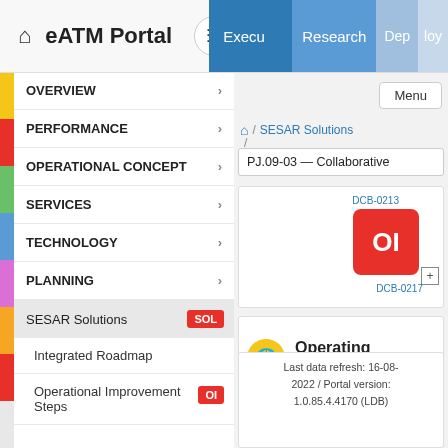eATM Portal
OVERVIEW
PERFORMANCE
OPERATIONAL CONCEPT
SERVICES
TECHNOLOGY
PLANNING
SESAR Solutions SOL
Integrated Roadmap
Operational Improvement Steps OI
Menu
/ SESAR Solutions
PJ.09-03 — Collaborative
[Figure (screenshot): OI red badge icon labeled DCB-0217 with expand/plus button]
Operating Environments: No
Last data refresh: 16-08-2022 / Portal version: 1.0.85.4.4170 (LDB)